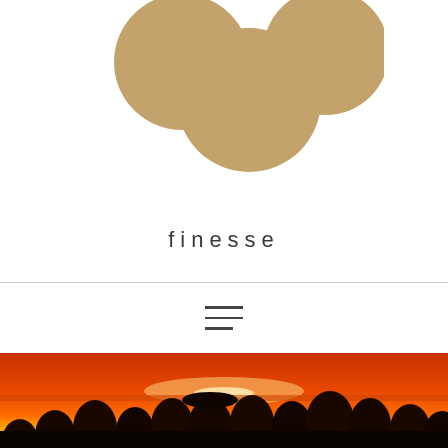[Figure (logo): Three overlapping golden/tan circles arranged in a loose cluster, forming a logo mark on white background]
finesse
[Figure (illustration): Hamburger menu icon with three horizontal lines (third line shorter)]
[Figure (photo): Crowd of people seen from behind silhouetted against a vivid orange-red sunset over water]